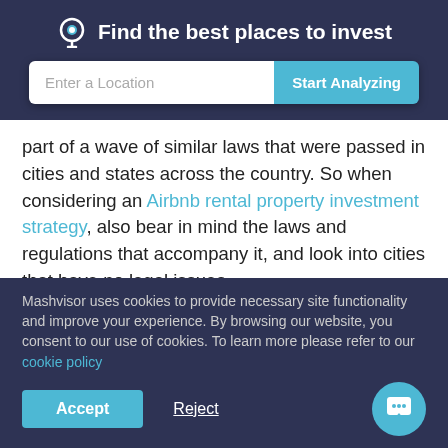Find the best places to invest
part of a wave of similar laws that were passed in cities and states across the country. So when considering an Airbnb rental property investment strategy, also bear in mind the laws and regulations that accompany it, and look into cities that have no legal issues.
The best cities for Airbnb investment in 2020 are ones with high profitability indices and few legal problems. These
Mashvisor uses cookies to provide necessary site functionality and improve your experience. By browsing our website, you consent to our use of cookies. To learn more please refer to our cookie policy